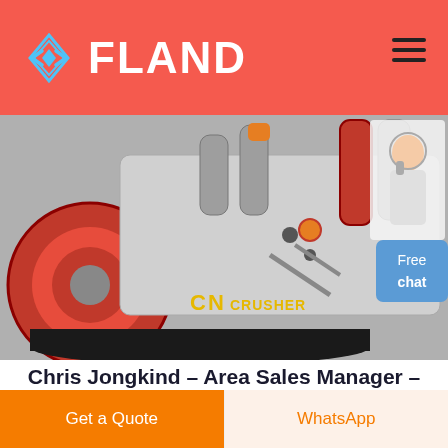FLAND
[Figure (photo): Industrial machinery/conveyor belt equipment photo showing mechanical components including a red pulley wheel, black belt, orange fittings, and metal cylinders. CN Crusher branding visible. A customer service representative image overlaid in top right with 'Free chat' button in blue.]
Chris Jongkind - Area Sales Manager - Dunlop Conveyor ...
Bekijk het profiel van Chris Jongkind op LinkedIn, de grootste professionele community ter wereld.
Get a Quote   WhatsApp